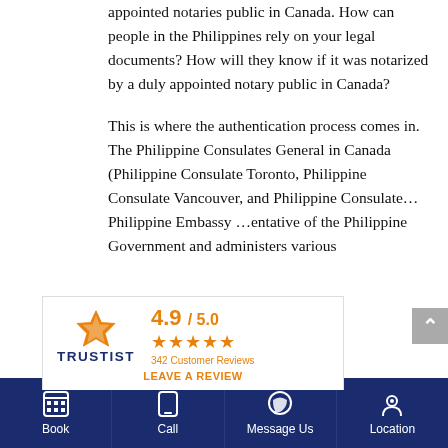appointed notaries public in Canada. How can people in the Philippines rely on your legal documents? How will they know if it was notarized by a duly appointed notary public in Canada?
This is where the authentication process comes in. The Philippine Consulates General in Canada (Philippine Consulate Toronto, Philippine Consulate Vancouver, and Philippine … Philippine Embassy … entative of the Philippine Government and administers various
[Figure (other): Trustist review widget showing 4.9/5.0 rating with 5 stars and 342 Customer Reviews, with a 'LEAVE A REVIEW' link below]
Book | Call | Message Us | Location